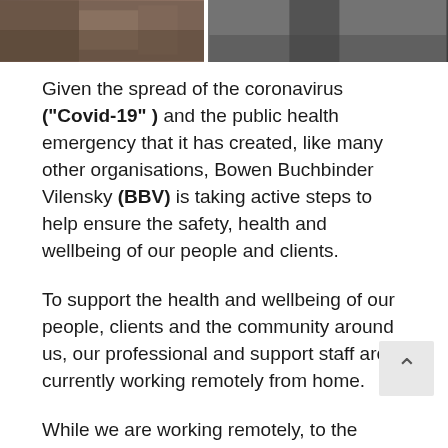[Figure (photo): Two-panel photo strip at top: left panel shows a desk/office scene in warm brown tones, right panel shows a person standing in darker tones.]
Given the spread of the coronavirus ("Covid-19" ) and the public health emergency that it has created, like many other organisations, Bowen Buchbinder Vilensky (BBV) is taking active steps to help ensure the safety, health and wellbeing of our people and clients.
To support the health and wellbeing of our people, clients and the community around us, our professional and support staff are currently working remotely from home.
While we are working remotely, to the fullest extent possible it will be business as usual in terms of our professional services and our client service. We are still ready, willing and able to take on new clients. While we cannot meet you in person, we are able to conduct consultations with video...